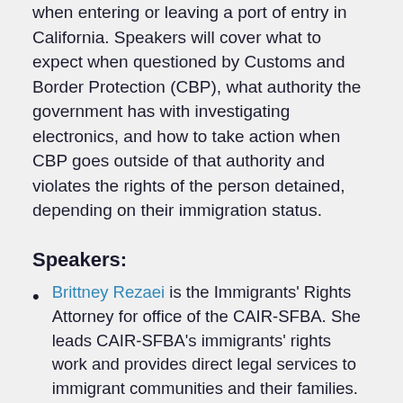when entering or leaving a port of entry in California. Speakers will cover what to expect when questioned by Customs and Border Protection (CBP), what authority the government has with investigating electronics, and how to take action when CBP goes outside of that authority and violates the rights of the person detained, depending on their immigration status.
Speakers:
Brittney Rezaei is the Immigrants' Rights Attorney for office of the CAIR-SFBA. She leads CAIR-SFBA's immigrants' rights work and provides direct legal services to immigrant communities and their families.
Sophia Cope is a Senior Staff Attorney on the EFF's civil liberties team, working on a variety of free speech and privacy issues. She has been a civil liberies attorney for 15 years and has experience in